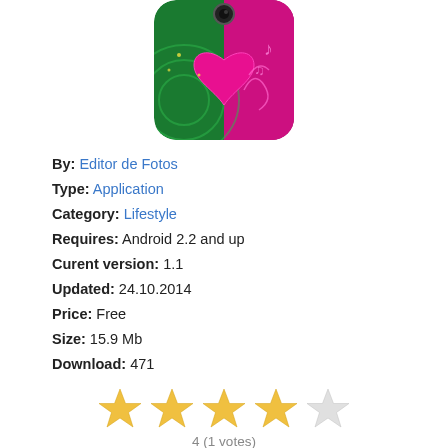[Figure (photo): App icon for Girly Pics - Photo Editor: green and pink background with a heart shape and decorative elements, rounded corners]
By: Editor de Fotos
Type: Application
Category: Lifestyle
Requires: Android 2.2 and up
Curent version: 1.1
Updated: 24.10.2014
Price: Free
Size: 15.9 Mb
Download: 471
[Figure (other): 4 out of 5 star rating displayed as golden stars]
4 (1 votes)
Description of Girly Pics - Photo Editor
Create the best-looking photos of yourself and your friends in a an instant by putting them into stylish trendy picture frames free for Android™! By downloading Girly Pics – Photo Editor you'll get the chance to experience